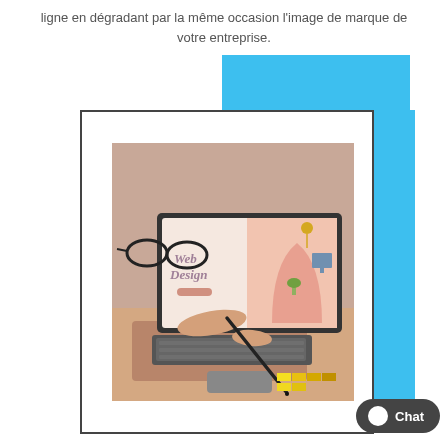ligne en dégradant par la même occasion l'image de marque de votre entreprise.
[Figure (photo): A person working on a laptop showing a web design interface with 'Web Design' text on screen, holding a stylus pen, with color swatches and glasses visible. Decorative blue rectangles frame the photo.]